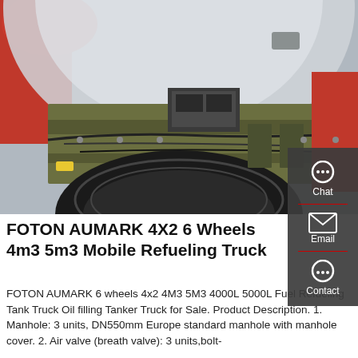[Figure (photo): Undercarriage view of a FOTON AUMARK truck chassis showing wheel well, tire, engine components, wiring, and mechanical parts. Red and silver body panels visible.]
FOTON AUMARK 4X2 6 Wheels 4m3 5m3 Mobile Refueling Truck
FOTON AUMARK 6 wheels 4x2 4M3 5M3 4000L 5000L Fuel Refueling Tank Truck Oil filling Tanker Truck for Sale. Product Description. 1. Manhole: 3 units, DN550mm Europe standard manhole with manhole cover. 2. Air valve (breath valve): 3 units,bolt-